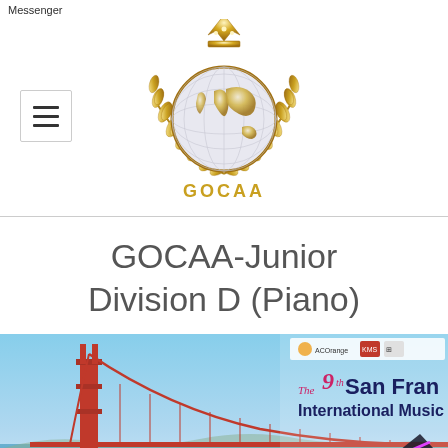Messenger
[Figure (logo): GOCAA gold laurel wreath logo with globe and crown, with hamburger menu button on the left]
GOCAA-Junior Division D (Piano)
[Figure (photo): Banner image showing the Golden Gate Bridge with text 'The 9th San Francisco International Music Competition' and sponsor logos]